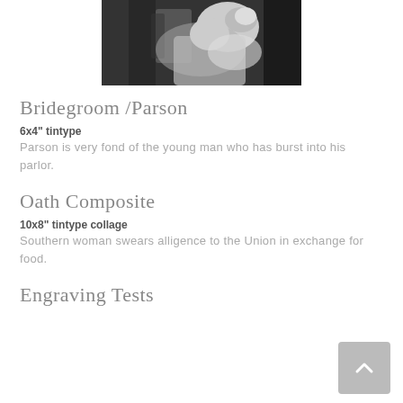[Figure (photo): Black and white photograph showing a person, likely related to a bridegroom/parson scene. Partial view cropped at top of page.]
Bridegroom /Parson
6x4" tintype
Parson is very fond of the young man who has burst into his parlor.
Oath Composite
10x8" tintype collage
Southern woman swears alligence to the Union in exchange for food.
Engraving Tests